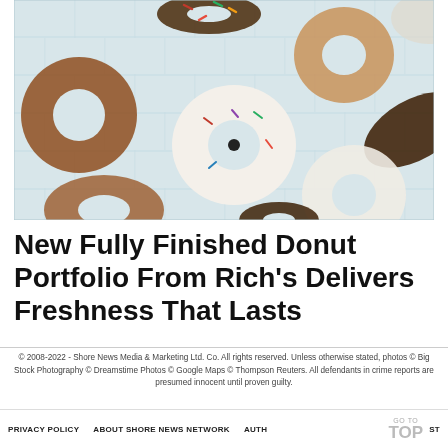[Figure (photo): Overhead flat-lay photo of assorted donuts on a light blue/grey tile background. Varieties include chocolate frosted with sprinkles, glazed, white frosted with sprinkles, plain glazed, chocolate-dipped eclair, and cinnamon sugar.]
New Fully Finished Donut Portfolio From Rich’s Delivers Freshness That Lasts
© 2008-2022 - Shore News Media & Marketing Ltd. Co. All rights reserved. Unless otherwise stated, photos © Big Stock Photography © Dreamstime Photos © Google Maps © Thompson Reuters. All defendants in crime reports are presumed innocent until proven guilty.
PRIVACY POLICY   ABOUT SHORE NEWS NETWORK   AUTH   GO TO TOP   ST